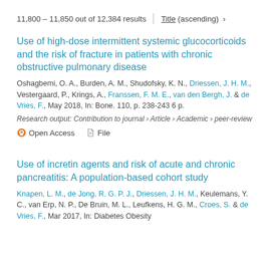11,800 – 11,850 out of 12,384 results  |  Title (ascending)  ›
Use of high-dose intermittent systemic glucocorticoids and the risk of fracture in patients with chronic obstructive pulmonary disease
Oshagbemi, O. A., Burden, A. M., Shudofsky, K. N., Driessen, J. H. M., Vestergaard, P., Krings, A., Franssen, F. M. E., van den Bergh, J. & de Vries, F., May 2018, In: Bone. 110, p. 238-243 6 p.
Research output: Contribution to journal › Article › Academic › peer-review
Open Access   File
Use of incretin agents and risk of acute and chronic pancreatitis: A population-based cohort study
Knapen, L. M., de Jong, R. G. P. J., Driessen, J. H. M., Keulemans, Y. C., van Erp, N. P., De Bruin, M. L., Leufkens, H. G. M., Croes, S. & de Vries, F., Mar 2017, In: Diabetes Obesity & Metabolism...